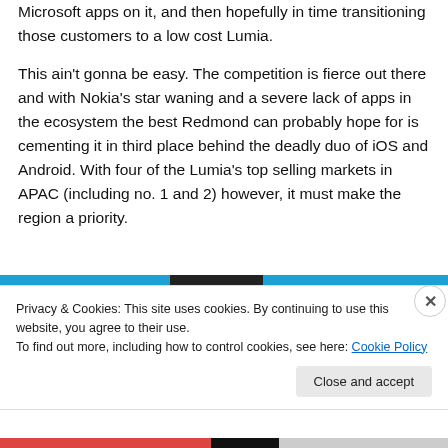Microsoft apps on it, and then hopefully in time transitioning those customers to a low cost Lumia.
This ain't gonna be easy. The competition is fierce out there and with Nokia's star waning and a severe lack of apps in the ecosystem the best Redmond can probably hope for is cementing it in third place behind the deadly duo of iOS and Android. With four of the Lumia's top selling markets in APAC (including no. 1 and 2) however, it must make the region a priority.
Privacy & Cookies: This site uses cookies. By continuing to use this website, you agree to their use.
To find out more, including how to control cookies, see here: Cookie Policy